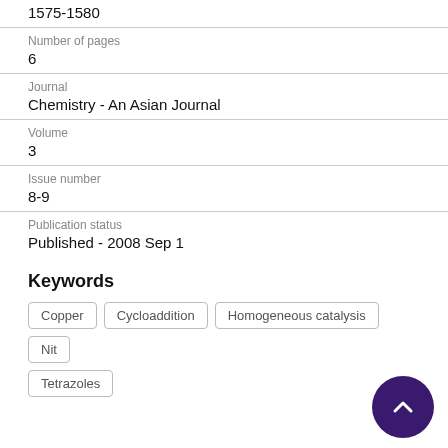1575-1580
Number of pages
6
Journal
Chemistry - An Asian Journal
Volume
3
Issue number
8-9
Publication status
Published - 2008 Sep 1
Keywords
Copper
Cycloaddition
Homogeneous catalysis
Nit…
Tetrazoles